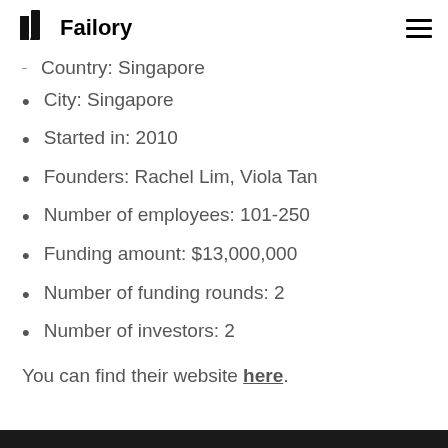Failory
Country: Singapore
City: Singapore
Started in: 2010
Founders: Rachel Lim, Viola Tan
Number of employees: 101-250
Funding amount: $13,000,000
Number of funding rounds: 2
Number of investors: 2
You can find their website here.